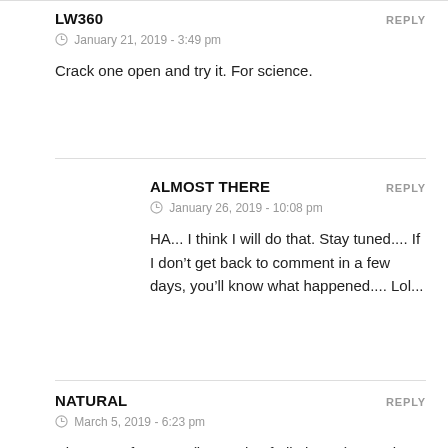LW360
REPLY
January 21, 2019 - 3:49 pm
Crack one open and try it. For science.
ALMOST THERE
REPLY
January 26, 2019 - 10:08 pm
HA... I think I will do that. Stay tuned.... If I don’t get back to comment in a few days, you’ll know what happened.... Lol...
NATURAL
REPLY
March 5, 2019 - 6:23 pm
Hi, I’m a cafe owner (in seattle of all places!) I was just thinking